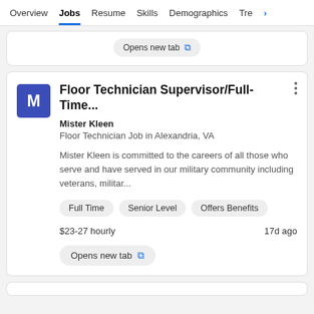Overview  Jobs  Resume  Skills  Demographics  Tre >
Opens new tab (partial, top card)
Floor Technician Supervisor/Full-Time...
Mister Kleen
Floor Technician Job in Alexandria, VA
Mister Kleen is committed to the careers of all those who serve and have served in our military community including veterans, militar...
Full Time
Senior Level
Offers Benefits
$23-27 hourly
17d ago
Opens new tab